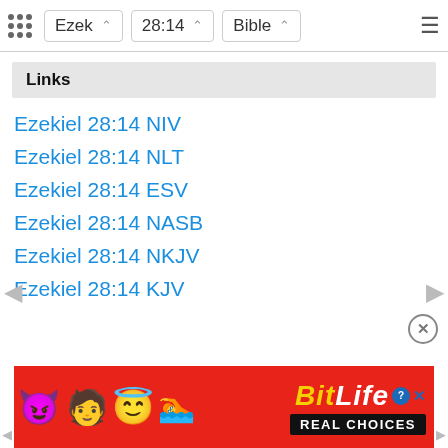Ezek  28:14  Bible
Links
Ezekiel 28:14 NIV
Ezekiel 28:14 NLT
Ezekiel 28:14 ESV
Ezekiel 28:14 NASB
Ezekiel 28:14 NKJV
Ezekiel 28:14 KJV
[Figure (screenshot): BitLife REAL CHOICES advertisement banner with emoji characters (devil, person, angel, sperm) on red background]